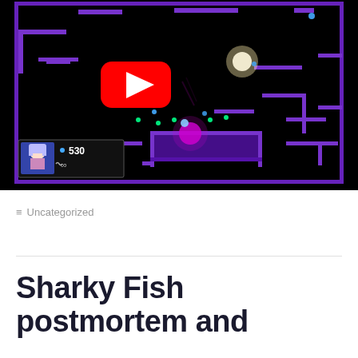[Figure (screenshot): YouTube video thumbnail showing a top-down 2D pixel game with purple platform levels on a black background. A YouTube play button is visible in the center. Bottom left shows a game HUD with a character portrait, score 530, and infinity symbol.]
Uncategorized
Sharky Fish postmortem and